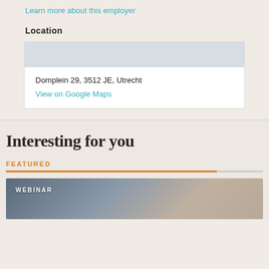Learn more about this employer
Location
Domplein 29, 3512 JE, Utrecht
View on Google Maps
Interesting for you
FEATURED
[Figure (photo): Webinar promotional image showing people in a business setting, with 'WEBINAR' label overlaid in white text]